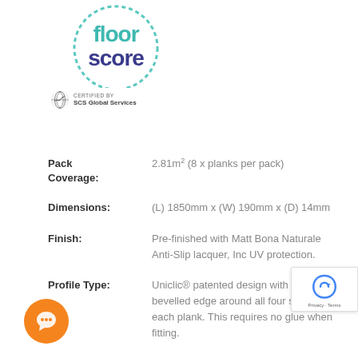[Figure (logo): FloorScore certification logo with circular dashed border in green and blue text]
[Figure (logo): SCS Global Services certified by logo with globe icon]
Pack Coverage: 2.81m² (8 x planks per pack)
Dimensions: (L) 1850mm x (W) 190mm x (D) 14mm
Finish: Pre-finished with Matt Bona Naturale Anti-Slip lacquer, Inc UV protection.
Profile Type: Uniclic® patented design with a micro bevelled edge around all four sides of each plank. This requires no glue when fitting.
Construction: Plywood base with a 4mm wear layer of strand woven on the surface (2x harder Horizontal & Vertical bamboo flooring)
Float over underlay (Silver Barn or Classic Underlay), or glue directly down to subfloor